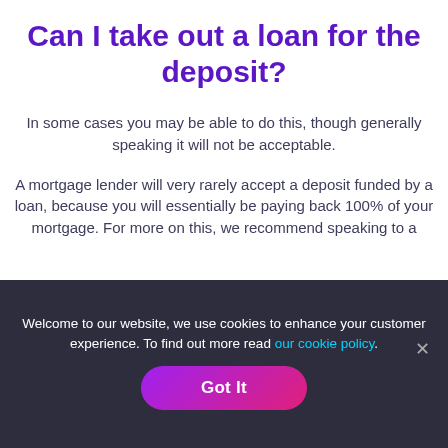Can I take out a loan for the deposit?
In some cases you may be able to do this, though generally speaking it will not be acceptable.
A mortgage lender will very rarely accept a deposit funded by a loan, because you will essentially be paying back 100% of your mortgage. For more on this, we recommend speaking to a
Welcome to our website, we use cookies to enhance your customer experience. To find out more read our cookie policy.
Got It